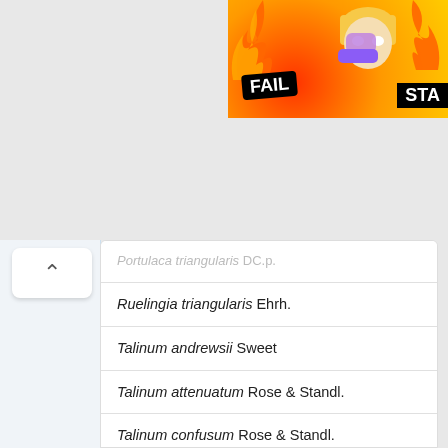[Figure (screenshot): Advertisement banner showing FAIL badge with cartoon character and flames on colorful background]
Portulaca triangularis DC.p. (partially visible, cut off)
Ruelingia triangularis Ehrh.
Talinum andrewsii Sweet
Talinum attenuatum Rose & Standl.
Talinum confusum Rose & Standl.
Talinum crassifolium Willd.
Talinum crassifolium var. albiflorum DC.
Talinum diffusum Rose & Standl.
Talinum grandiflorum Lockh.
Talinum grandiflorum Lockh. ex G.Don
Talinum mucronatum Kunth